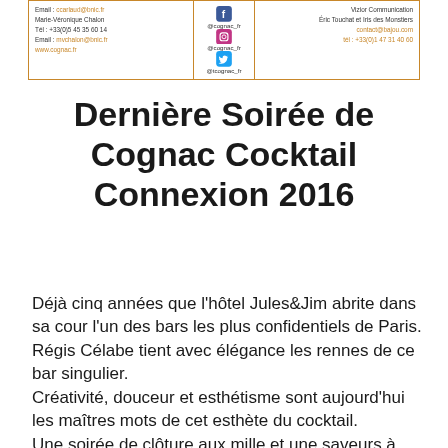[Figure (infographic): Header box with orange border containing contact info on left, social media icons in center (Facebook, Instagram, Twitter) with handle @cognac_fr, and Vizior Communication / Eric Touchat contact info on right]
Dernière Soirée de Cognac Cocktail Connexion 2016
Déjà cinq années que l'hôtel Jules&Jim abrite dans sa cour l'un des bars les plus confidentiels de Paris.
Régis Célabe tient avec élégance les rennes de ce bar singulier.
Créativité, douceur et esthétisme sont aujourd'hui les maîtres mots de cet esthète du cocktail.
Une soirée de clôture aux mille et une saveurs à noter dans votre